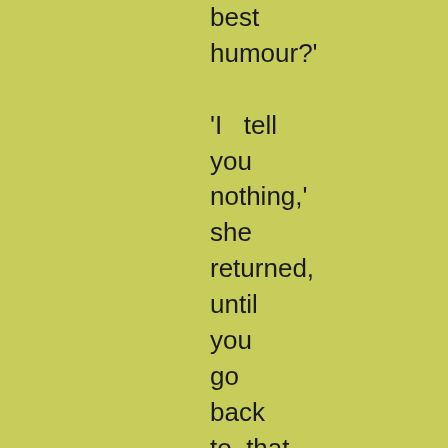best humour?' 'I tell you nothing,' she returned, until you go back to that chair - except this, once again - Don't